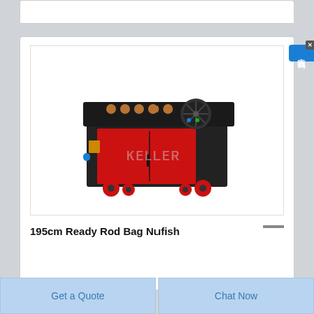[Figure (photo): Red and black industrial rod bending machine (KELLER brand) on red wheels, with mechanical components on top including rollers and a fan, shown on a white background.]
195cm Ready Rod Bag Nufish
Get a Quote
Chat Now